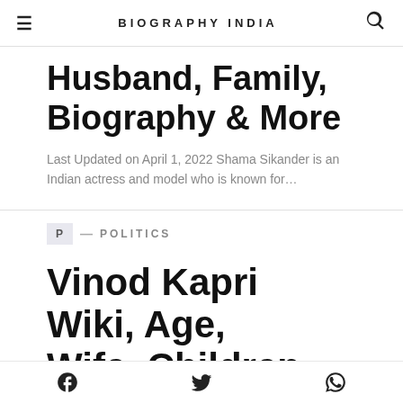BIOGRAPHY INDIA
Husband, Family, Biography & More
Last Updated on April 1, 2022 Shama Sikander is an Indian actress and model who is known for…
P — POLITICS
Vinod Kapri Wiki, Age, Wife, Children, Family
Facebook Twitter WhatsApp